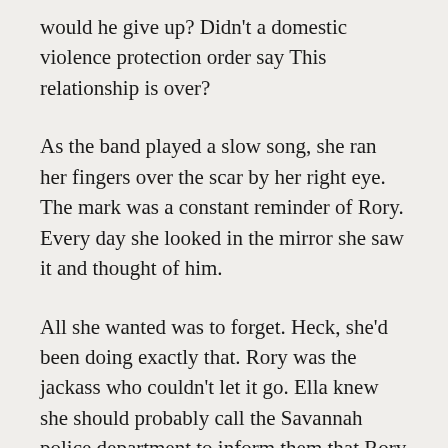would he give up? Didn't a domestic violence protection order say This relationship is over?
As the band played a slow song, she ran her fingers over the scar by her right eye. The mark was a constant reminder of Rory. Every day she looked in the mirror she saw it and thought of him.
All she wanted was to forget. Heck, she'd been doing exactly that. Rory was the jackass who couldn't let it go. Ella knew she should probably call the Savannah police department to inform them that Rory was contacting her, but she was so damn tired of it all. She had moved on and put Rory into her past of big mistakes.